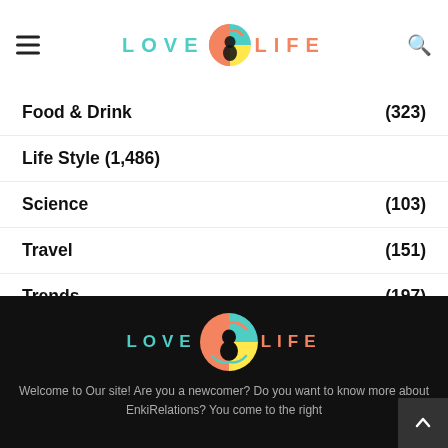LOVE LIFE (logo with baby icon)
Food & Drink (323)
Life Style (1,486)
Science (103)
Travel (151)
Trends (197)
Uncategorized (19)
[Figure (logo): LOVE LIFE logo with baby silhouette in circle, teal and coral letters on dark background]
Welcome to Our site! Are you a newcomer? Do you want to know more about EnkiRelations? You come to the right